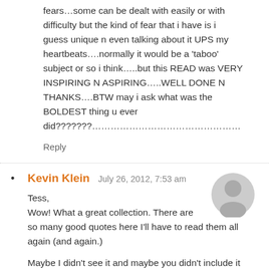fears…some can be dealt with easily or with difficulty but the kind of fear that i have is i guess unique n even talking about it UPS my heartbeats….normally it would be a 'taboo' subject or so i think…..but this READ was VERY INSPIRING N ASPIRING…..WELL DONE N THANKS….BTW may i ask what was the BOLDEST thing u ever did???????………………………………………
Reply
Kevin Klein   July 26, 2012, 7:53 am
Tess,
Wow! What a great collection. There are so many good quotes here I'll have to read them all again (and again.)
Maybe I didn't see it and maybe you didn't include it because it's over used; Winston Churchill said, "The